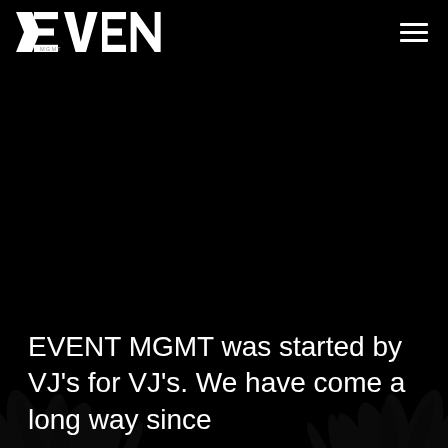[Figure (logo): EVENT MGMT logo in white stylized text on black background, top left]
[Figure (illustration): Dark black background with dark foliage/plant silhouettes visible at the bottom of the page]
EVENT MGMT was started by VJ's for VJ's. We have come a long way since